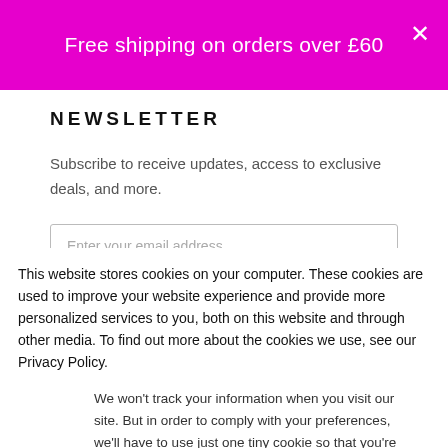Free shipping on orders over £60
NEWSLETTER
Subscribe to receive updates, access to exclusive deals, and more.
Enter your email address
This website stores cookies on your computer. These cookies are used to improve your website experience and provide more personalized services to you, both on this website and through other media. To find out more about the cookies we use, see our Privacy Policy.
We won't track your information when you visit our site. But in order to comply with your preferences, we'll have to use just one tiny cookie so that you're not asked to make this choice again.
Accept
Decline